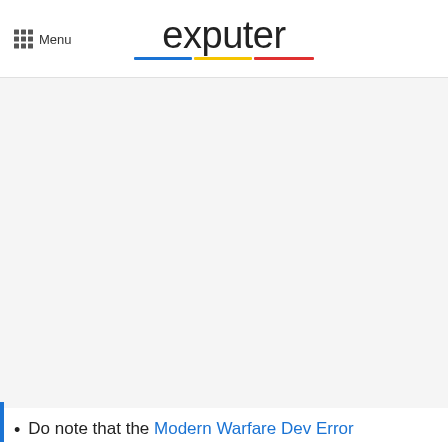Menu | exputer
[Figure (other): Large grey placeholder image area below the header]
Do note that the Modern Warfare Dev Error